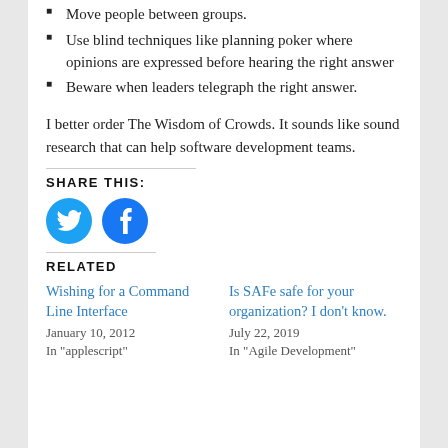Move people between groups.
Use blind techniques like planning poker where opinions are expressed before hearing the right answer
Beware when leaders telegraph the right answer.
I better order The Wisdom of Crowds. It sounds like sound research that can help software development teams.
SHARE THIS:
[Figure (logo): Twitter and Facebook social share icon buttons (circular, blue icons)]
RELATED
Wishing for a Command Line Interface
January 10, 2012
In "applescript"
Is SAFe safe for your organization? I don't know.
July 22, 2019
In "Agile Development"